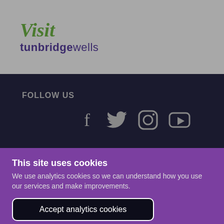[Figure (logo): Visit Tunbridge Wells logo — 'Visit' in green italic script, 'tunbridge' in bold purple, 'wells' in normal purple]
FOLLOW US
[Figure (illustration): Four social media icons: Facebook, Twitter, Instagram, YouTube — all in grey on dark background]
This site uses cookies
We use analytics cookies so we can understand how you use our services and make improvements.
Accept analytics cookies
Reject analytics cookies
Cookie Preferences